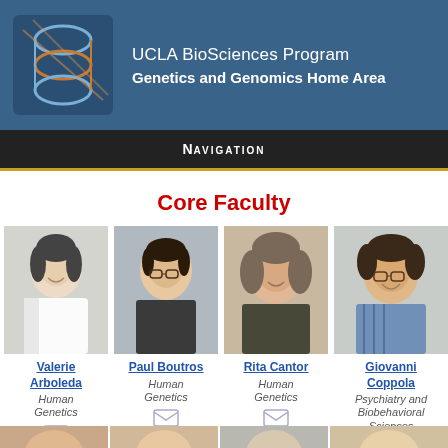UCLA BioSciences Program Genetics and Genomics Home Area
Navigation
Core Faculty
[Figure (photo): Headshot of Valerie Arboleda]
Valerie Arboleda
Human Genetics
[Figure (photo): Headshot of Paul Boutros]
Paul Boutros
Human Genetics
[Figure (photo): Headshot of Rita Cantor]
Rita Cantor
Human Genetics
[Figure (photo): Headshot of Giovanni Coppola]
Giovanni Coppola
Psychiatry and Biobehavioral Sciences